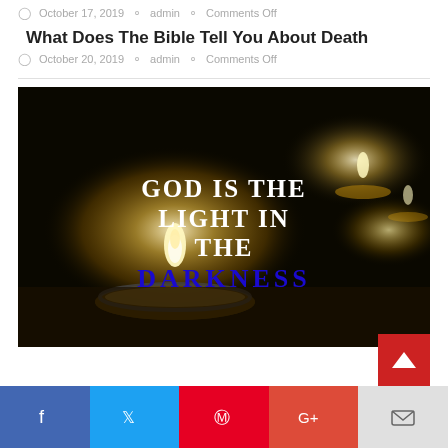October 17, 2019  admin  Comments Off
What Does The Bible Tell You About Death
October 20, 2019  admin  Comments Off
[Figure (photo): Dark background with lit candles and overlaid text reading 'GOD IS THE LIGHT IN THE DARKNESS' in white and blue bold serif font]
Social sharing buttons: Facebook, Twitter, Pinterest, Google+, Email